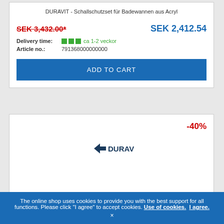DURAVIT - Schallschutzset für Badewannen aus Acryl
SEK 3,432.00*
SEK 2,412.54
Delivery time: ca 1-2 veckor
Article no.: 791368000000000
ADD TO CART
[Figure (logo): Duravit logo in dark blue with arrow/emblem]
-40%
The online shop uses cookies to provide you with the best support for all functions. Please click "I agree" to accept cookies. Use of cookies. I agree.